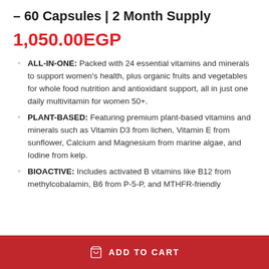– 60 Capsules | 2 Month Supply
1,050.00EGP
ALL-IN-ONE: Packed with 24 essential vitamins and minerals to support women's health, plus organic fruits and vegetables for whole food nutrition and antioxidant support, all in just one daily multivitamin for women 50+.
PLANT-BASED: Featuring premium plant-based vitamins and minerals such as Vitamin D3 from lichen, Vitamin E from sunflower, Calcium and Magnesium from marine algae, and Iodine from kelp.
BIOACTIVE: Includes activated B vitamins like B12 from methylcobalamin, B6 from P-5-P, and MTHFR-friendly...
ADD TO CART